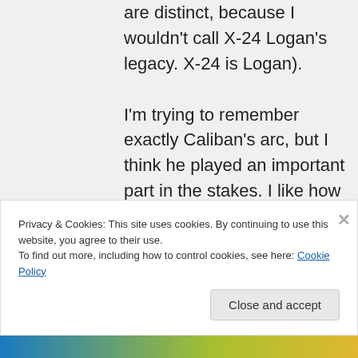are distinct, because I wouldn't call X-24 Logan's legacy. X-24 is Logan). I'm trying to remember exactly Caliban's arc, but I think he played an important part in the stakes. I like how it created a textured world outside of the trip. That the threats of the world didn't
Privacy & Cookies: This site uses cookies. By continuing to use this website, you agree to their use. To find out more, including how to control cookies, see here: Cookie Policy
Close and accept